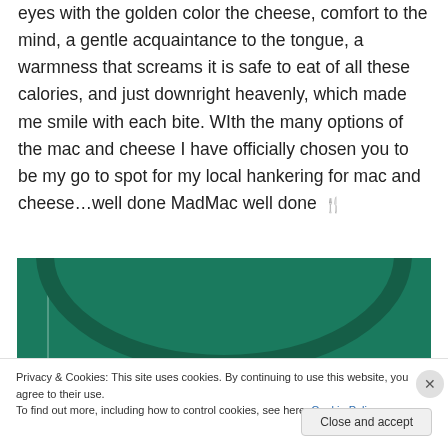eyes with the golden color the cheese, comfort to the mind, a gentle acquaintance to the tongue, a warmness that screams it is safe to eat of all these calories, and just downright heavenly, which made me smile with each bite. WIth the many options of the mac and cheese I have officially chosen you to be my go to spot for my local hankering for mac and cheese…well done MadMac well done 🍴
[Figure (photo): Green background photo, likely a plate or bowl, showing curved green shapes against a teal/green background with a vertical lighter line on the left.]
Privacy & Cookies: This site uses cookies. By continuing to use this website, you agree to their use.
To find out more, including how to control cookies, see here: Cookie Policy